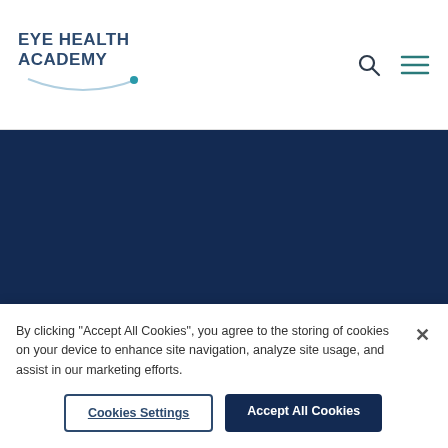[Figure (logo): Eye Health Academy logo with arc graphic and teal dot]
[Figure (illustration): Dark navy blue section - content area of website]
GET HELP
(866) 423-7849
By clicking "Accept All Cookies", you agree to the storing of cookies on your device to enhance site navigation, analyze site usage, and assist in our marketing efforts.
Cookies Settings
Accept All Cookies